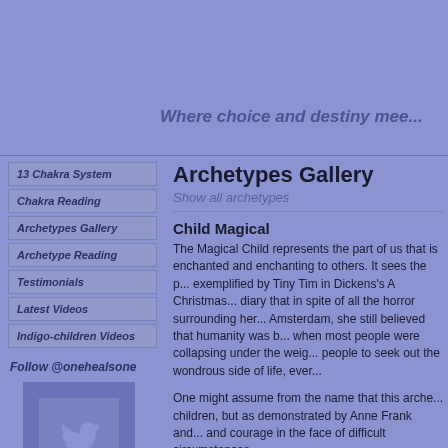Where choice and destiny mee...
13 Chakra System
Chakra Reading
Archetypes Gallery
Archetype Reading
Testimonials
Latest Videos
Indigo-children Videos
Follow @onehealsone
[Figure (logo): Twitter/social media logo icon in blue square]
Archetypes Gallery
Show all archetypes
Child Magical
The Magical Child represents the part of us that is enchanted and enchanting to others. It sees the p... exemplified by Tiny Tim in Dickens's A Christmas... diary that in spite of all the horror surrounding her... Amsterdam, she still believed that humanity was b... when most people were collapsing under the weig... people to seek out the wondrous side of life, ever...
One might assume from the name that this arche... children, but as demonstrated by Anne Frank and... and courage in the face of difficult circumstances...